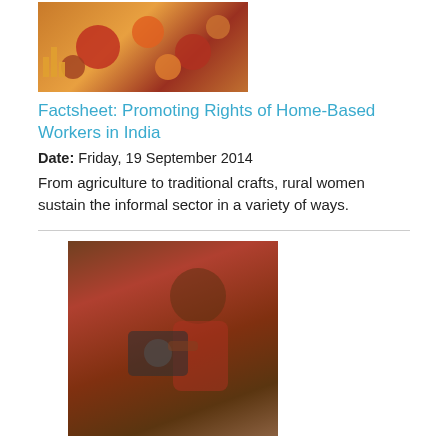[Figure (photo): Infographic thumbnail showing home-based workers information with colored circles and icons on an orange/brown background]
Factsheet: Promoting Rights of Home-Based Workers in India
Date: Friday, 19 September 2014
From agriculture to traditional crafts, rural women sustain the informal sector in a variety of ways.
[Figure (photo): Photo of a woman in a red shirt working at a sewing machine, viewed from the side.]
Empowering Women Workers in the Informal Sector - A Baseline Study
Date: Tuesday, 3 December 2013
From agriculture to traditional crafts, rural women sustain the informal sector in a variety of ways. Sewa Bharat and UN Women have joined hands to build the capacities of rural, female informal sector workers.